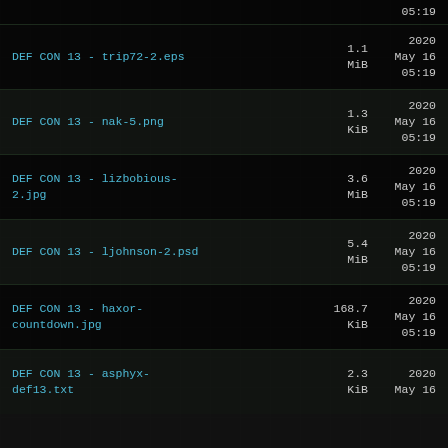.jpg   05:19
DEF CON 13 - trip72-2.eps   1.1 MiB   2020 May 16 05:19
DEF CON 13 - nak-5.png   1.3 KiB   2020 May 16 05:19
DEF CON 13 - lizbobious-2.jpg   3.6 MiB   2020 May 16 05:19
DEF CON 13 - ljohnson-2.psd   5.4 MiB   2020 May 16 05:19
DEF CON 13 - haxor-countdown.jpg   168.7 KiB   2020 May 16 05:19
DEF CON 13 - asphyx-def13.txt   2.3 KiB   2020 May 16